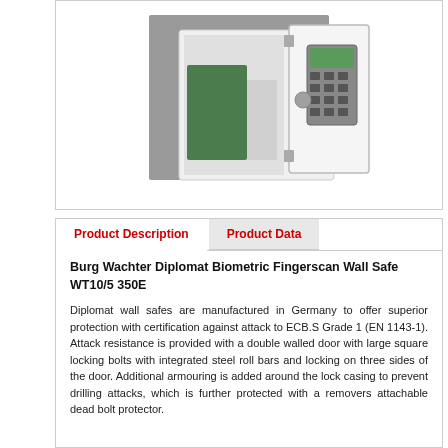[Figure (photo): A white Burg Wachter wall safe with door open, showing interior with green binder inside and electronic keypad on door front. Safe is mounted on a grey wall bracket.]
Product Description
Product Data
Burg Wachter Diplomat Biometric Fingerscan Wall Safe WT10/5 350E
Diplomat wall safes are manufactured in Germany to offer superior protection with certification against attack to ECB.S Grade 1 (EN 1143-1). Attack resistance is provided with a double walled door with large square locking bolts with integrated steel roll bars and locking on three sides of the door. Additional armouring is added around the lock casing to prevent drilling attacks, which is further protected with a removers attachable dead bolt protector.